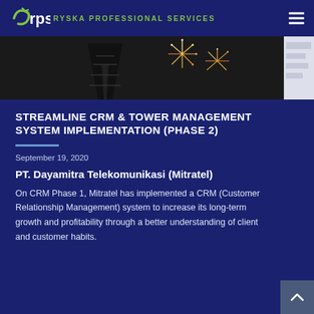RYSKA PROFESSIONAL SERVICES
[Figure (photo): Night-time photo of a telecommunications tower with fireworks in the background]
STREAMLINE CRM & TOWER MANAGEMENT SYSTEM IMPLEMENTATION (PHASE 2)
September 19, 2020
PT. Dayamitra Telekomunikasi (Mitratel)
On CRM Phase 1, Mitratel has implemented a CRM (Customer Relationship Management) system to increase its long-term growth and profitability through a better understanding of client and customer habits.